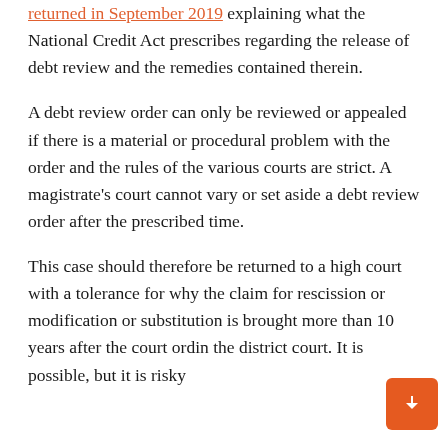returned in September 2019 explaining what the National Credit Act prescribes regarding the release of debt review and the remedies contained therein.
A debt review order can only be reviewed or appealed if there is a material or procedural problem with the order and the rules of the various courts are strict. A magistrate's court cannot vary or set aside a debt review order after the prescribed time.
This case should therefore be returned to a high court with a tolerance for why the claim for rescission or modification or substitution is brought more than 10 years after the court ord... in the district court. It is possible, but it is risky